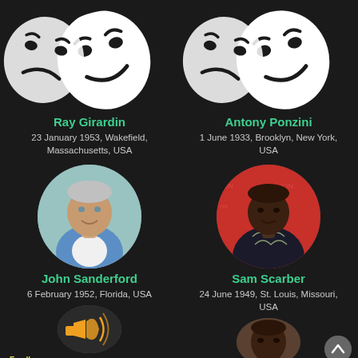[Figure (illustration): White theater comedy/tragedy masks on dark background - top left]
Ray Girardin
23 January 1953, Wakefield, Massachusetts, USA
[Figure (illustration): White theater comedy/tragedy masks on dark background - top right]
Antony Ponzini
1 June 1933, Brooklyn, New York, USA
[Figure (photo): Circular photo of John Sanderford, older white male with grey hair, blue shirt]
John Sanderford
6 February 1952, Florida, USA
[Figure (photo): Circular photo of Sam Scarber, Black male in dark patterned shirt at event]
Sam Scarber
24 June 1949, St. Louis, Missouri, USA
[Figure (photo): Partial circular photo visible at bottom left - megaphone/speaker icon]
[Figure (photo): Partial circular photo visible at bottom right - older Black male]
Feedbac...